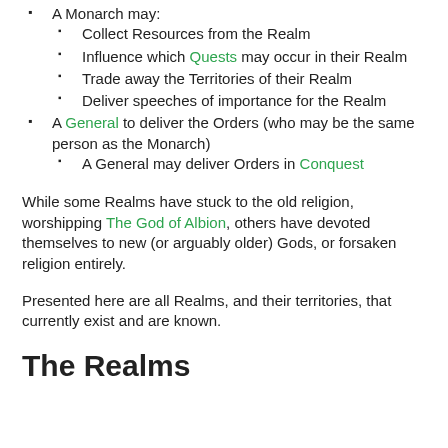A Monarch may:
Collect Resources from the Realm
Influence which Quests may occur in their Realm
Trade away the Territories of their Realm
Deliver speeches of importance for the Realm
A General to deliver the Orders (who may be the same person as the Monarch)
A General may deliver Orders in Conquest
While some Realms have stuck to the old religion, worshipping The God of Albion, others have devoted themselves to new (or arguably older) Gods, or forsaken religion entirely.
Presented here are all Realms, and their territories, that currently exist and are known.
The Realms